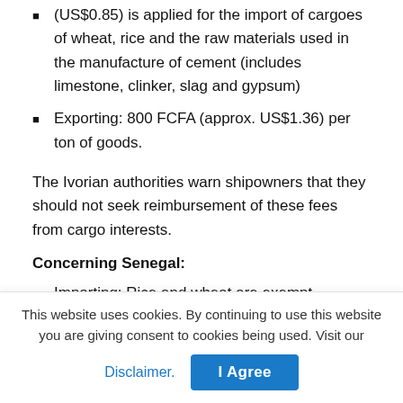(US$0.85) is applied for the import of cargoes of wheat, rice and the raw materials used in the manufacture of cement (includes limestone, clinker, slag and gypsum)
Exporting: 800 FCFA (approx. US$1.36) per ton of goods.
The Ivorian authorities warn shipowners that they should not seek reimbursement of these fees from cargo interests.
Concerning Senegal:
Importing: Rice and wheat are exempt. Cement
This website uses cookies. By continuing to use this website you are giving consent to cookies being used. Visit our
Disclaimer. | I Agree